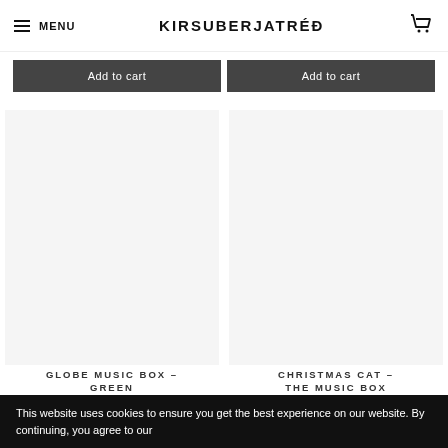MENU | KIRSUBERJATRÉÐ | [cart icon]
Add to cart
Add to cart
[Figure (photo): Product image placeholder for Globe Music Box – Green]
[Figure (photo): Product image placeholder for Christmas Cat – The Music Box]
GLOBE MUSIC BOX – GREEN
CHRISTMAS CAT – THE MUSIC BOX
This website uses cookies to ensure you get the best experience on our website. By continuing, you agree to our